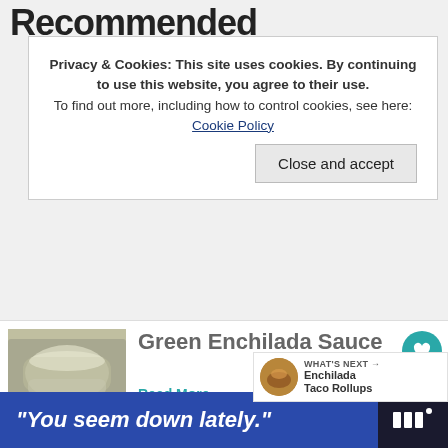Recommended
Privacy & Cookies: This site uses cookies. By continuing to use this website, you agree to their use.
To find out more, including how to control cookies, see here: Cookie Policy
Close and accept
[Figure (photo): Food photo showing enchilada dish with sauce]
Read More →
[Figure (photo): Food photo showing green enchiladas with white cheese/cream sauce]
Green Enchilada Sauce
Read More →
[Figure (photo): Small circular thumbnail photo for Enchilada Taco Rollups]
WHAT'S NEXT → Enchilada Taco Rollups
[Figure (photo): Partially visible photo for Buffalo Chicken Ranch recipe]
Buffalo Chicken Ranch Tamales
"You seem down lately."